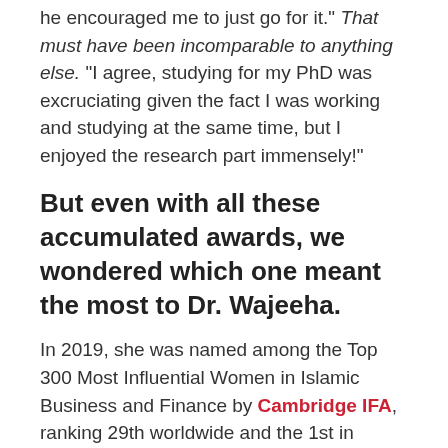he encouraged me to just go for it." That must have been incomparable to anything else. "I agree, studying for my PhD was excruciating given the fact I was working and studying at the same time, but I enjoyed the research part immensely!"
But even with all these accumulated awards, we wondered which one meant the most to Dr. Wajeeha.
In 2019, she was named among the Top 300 Most Influential Women in Islamic Business and Finance by Cambridge IFA, ranking 29th worldwide and the 1st in Bahrain.